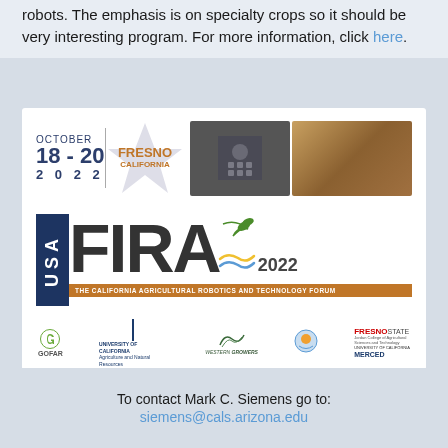robots. The emphasis is on specialty crops so it should be very interesting program. For more information, click here.
[Figure (other): USA FIRA 2022 event flyer: The California Agricultural Robotics and Technology Forum, October 18-20, 2022, Fresno California. Includes sponsor logos: GOFAR, University of California Agriculture and Natural Resources, Western Growers, Fresno State, University of California Merced.]
To contact Mark C. Siemens go to:
siemens@cals.arizona.edu